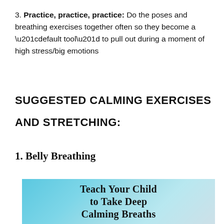3. Practice, practice, practice: Do the poses and breathing exercises together often so they become a “default tool” to pull out during a moment of high stress/big emotions
SUGGESTED CALMING EXERCISES AND STRETCHING:
1. Belly Breathing
[Figure (illustration): Decorative image with sky/cloud background and bold text reading 'Teach Your Child to Take Deep Calming Breaths']